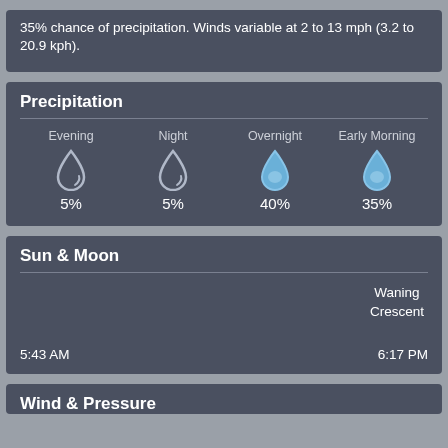35% chance of precipitation. Winds variable at 2 to 13 mph (3.2 to 20.9 kph).
Precipitation
| Evening | Night | Overnight | Early Morning |
| --- | --- | --- | --- |
| 5% | 5% | 40% | 35% |
Sun & Moon
Waning Crescent
5:43 AM    6:17 PM
Wind & Pressure